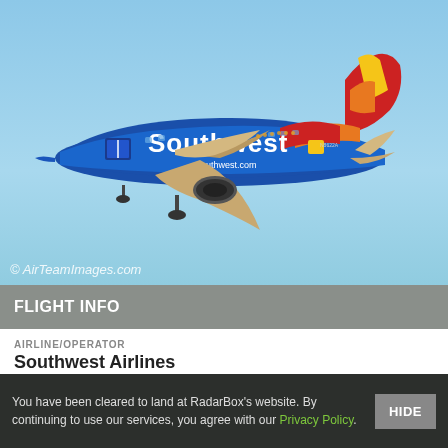[Figure (photo): Southwest Airlines Boeing 737 aircraft in flight against a blue sky, showing the airline's iconic blue, red, and yellow livery with 'Southwest' written on the fuselage]
© AirTeamImages.com
FLIGHT INFO
AIRLINE/OPERATOR
Southwest Airlines
DEPARTURE TAXI TIME
1m
ARRIVAL TAXI TIME
4m
You have been cleared to land at RadarBox's website. By continuing to use our services, you agree with our Privacy Policy.